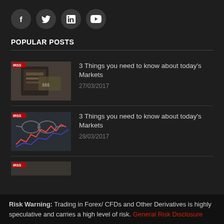[Figure (other): Social media icon buttons row: Facebook, Twitter, LinkedIn, YouTube]
POPULAR POSTS
[Figure (photo): Thumbnail image of financial markets / phone screen]
3 Things you need to know about today's Markets
27/03/2017
[Figure (photo): Thumbnail image of stock chart with glasses]
3 Things you need to know about today's Markets
28/03/2017
Risk Warning: Trading in Forex/ CFDs and Other Derivatives is highly speculative and carries a high level of risk. General Risk Disclosure